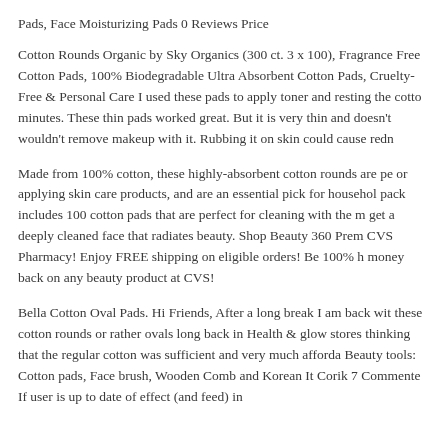Pads, Face Moisturizing Pads 0 Reviews Price
Cotton Rounds Organic by Sky Organics (300 ct. 3 x 100), Fragrance Free Cotton Pads, 100% Biodegradable Ultra Absorbent Cotton Pads, Cruelty-Free & Personal Care I used these pads to apply toner and resting the cotton minutes. These thin pads worked great. But it is very thin and doesn't wouldn't remove makeup with it. Rubbing it on skin could cause redn
Made from 100% cotton, these highly-absorbent cotton rounds are pe or applying skin care products, and are an essential pick for househol pack includes 100 cotton pads that are perfect for cleaning with the m get a deeply cleaned face that radiates beauty. Shop Beauty 360 Prem CVS Pharmacy! Enjoy FREE shipping on eligible orders! Be 100% h money back on any beauty product at CVS!
Bella Cotton Oval Pads. Hi Friends, After a long break I am back wit these cotton rounds or rather ovals long back in Health & glow stores thinking that the regular cotton was sufficient and very much afforda Beauty tools: Cotton pads, Face brush, Wooden Comb and Korean It Corik 7 Commente If user is up to date of effect (and feed) in